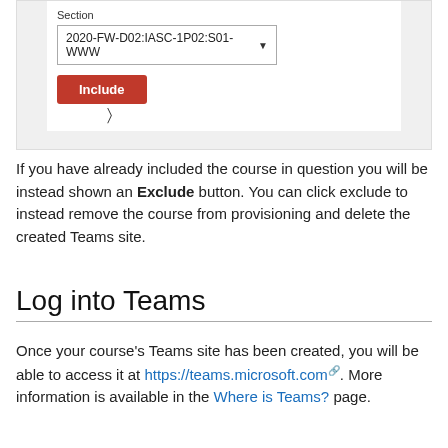[Figure (screenshot): Screenshot of a course section UI showing a Section dropdown set to '2020-FW-D02:IASC-1P02:S01-WWW' and a red Include button with a cursor hovering over it.]
If you have already included the course in question you will be instead shown an Exclude button. You can click exclude to instead remove the course from provisioning and delete the created Teams site.
Log into Teams
Once your course's Teams site has been created, you will be able to access it at https://teams.microsoft.com. More information is available in the Where is Teams? page.